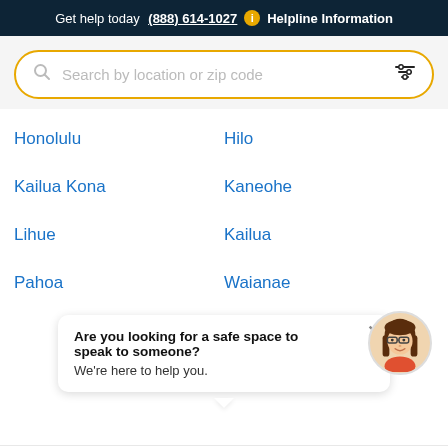Get help today (888) 614-1027 ℹ Helpline Information
[Figure (screenshot): Search bar with magnifier icon, placeholder 'Search by location or zip code', and filter icon, bordered in gold/yellow]
Honolulu
Hilo
Kailua Kona
Kaneohe
Lihue
Kailua
Pahoa
Waianae
Are you looking for a safe space to speak to someone? We're here to help you.
Popular Cities
Your Next Steps